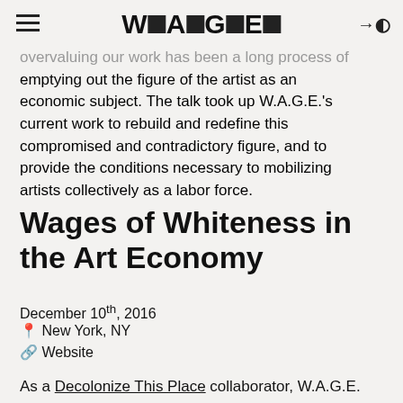W▪A▪G▪E▪ (logo with hamburger menu and login icon)
overvaluing our work has been a long process of emptying out the figure of the artist as an economic subject. The talk took up W.A.G.E.'s current work to rebuild and redefine this compromised and contradictory figure, and to provide the conditions necessary to mobilizing artists collectively as a labor force.
Wages of Whiteness in the Art Economy
December 10th, 2016
New York, NY
Website
As a Decolonize This Place collaborator, W.A.G.E.